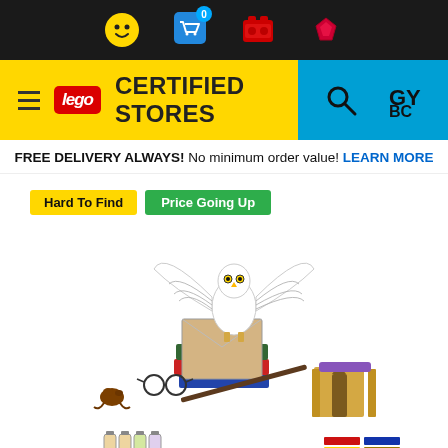[Figure (screenshot): LEGO Certified Stores website header with dark top navigation bar containing icons (smiley face, cart with 0, brick icons), yellow header bar with hamburger menu, LEGO logo, and CERTIFIED STORES text, and blue right section with search and account icons]
FREE DELIVERY ALWAYS! No minimum order value! LEARN MORE
Hard To Find  Price Going Up
[Figure (photo): LEGO Harry Potter Hogwarts Icons collectible set featuring a white owl (Hedwig) with spread wings perched on stacked books with a wand, letter, glasses, small potion bottles, a chocolate frog, a Gryffindor scarf/house crest pieces, and Hogwarts gate pieces]